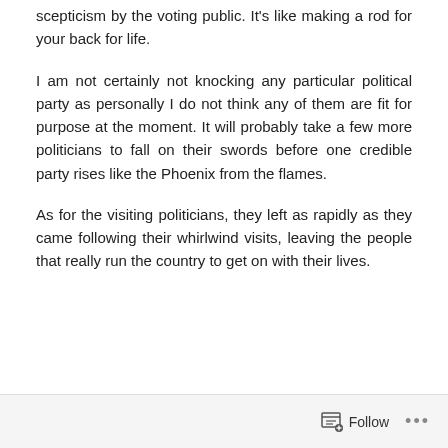scepticism by the voting public. It's like making a rod for your back for life.
I am not certainly not knocking any particular political party as personally I do not think any of them are fit for purpose at the moment. It will probably take a few more politicians to fall on their swords before one credible party rises like the Phoenix from the flames.
As for the visiting politicians, they left as rapidly as they came following their whirlwind visits, leaving the people that really run the country to get on with their lives.
Follow ···